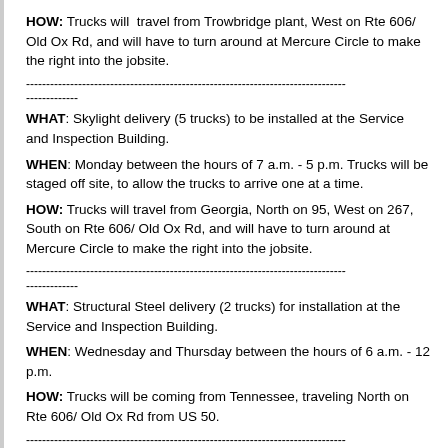HOW: Trucks will travel from Trowbridge plant, West on Rte 606/ Old Ox Rd, and will have to turn around at Mercure Circle to make the right into the jobsite.
-------------------------------------------------------------------------------------------------------------------
WHAT: Skylight delivery (5 trucks) to be installed at the Service and Inspection Building.
WHEN: Monday between the hours of 7 a.m. - 5 p.m. Trucks will be staged off site, to allow the trucks to arrive one at a time.
HOW: Trucks will travel from Georgia, North on 95, West on 267, South on Rte 606/ Old Ox Rd, and will have to turn around at Mercure Circle to make the right into the jobsite.
-------------------------------------------------------------------------------------------------------------------
WHAT: Structural Steel delivery (2 trucks) for installation at the Service and Inspection Building.
WHEN: Wednesday and Thursday between the hours of 6 a.m. - 12 p.m.
HOW: Trucks will be coming from Tennessee, traveling North on Rte 606/ Old Ox Rd from US 50.
-------------------------------------------------------------------------------------------------------------------